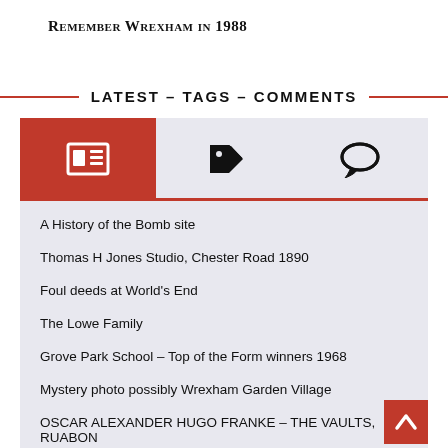Remember Wrexham in 1988
LATEST – TAGS – COMMENTS
[Figure (infographic): Tab navigation bar with three tabs: active tab (red background) with newspaper/article icon, second tab with tag icon, third tab with comment/speech bubble icon. Below is a list panel on a light blue-grey background.]
A History of the Bomb site
Thomas H Jones Studio, Chester Road 1890
Foul deeds at World's End
The Lowe Family
Grove Park School – Top of the Form winners 1968
Mystery photo possibly Wrexham Garden Village
OSCAR ALEXANDER HUGO FRANKE – THE VAULTS, RUABON